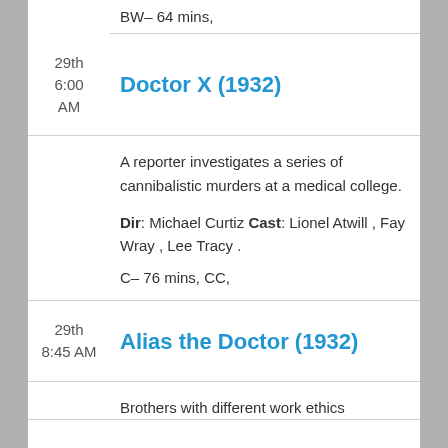BW- 64 mins,
29th
6:00
AM
Doctor X (1932)
A reporter investigates a series of cannibalistic murders at a medical college.
Dir: Michael Curtiz Cast: Lionel Atwill , Fay Wray , Lee Tracy .
C- 76 mins, CC,
29th
8:45 AM
Alias the Doctor (1932)
Brothers with different work ethics